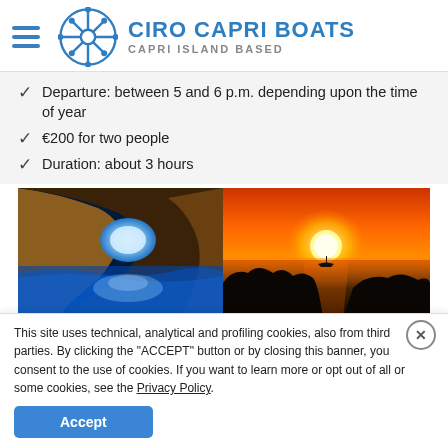CIRO CAPRI BOATS — CAPRI ISLAND BASED
Departure: between 5 and 6 p.m. depending upon the time of year
€200 for two people
Duration: about 3 hours
[Figure (photo): Two side-by-side photos: left shows a blue cave (Blue Grotto of Capri) with glowing blue water and a cave opening; right shows a sunset over the sea with rocks silhouetted in the foreground.]
This site uses technical, analytical and profiling cookies, also from third parties. By clicking the "ACCEPT" button or by closing this banner, you consent to the use of cookies. If you want to learn more or opt out of all or some cookies, see the Privacy Policy.